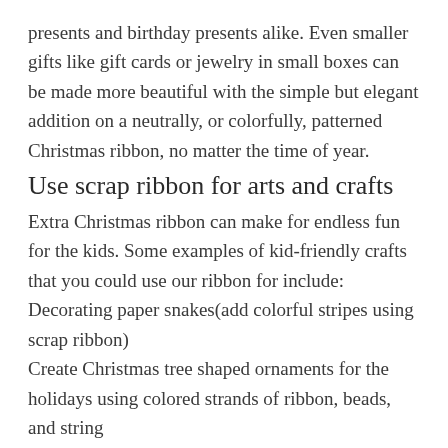presents and birthday presents alike. Even smaller gifts like gift cards or jewelry in small boxes can be made more beautiful with the simple but elegant addition on a neutrally, or colorfully, patterned Christmas ribbon, no matter the time of year.
Use scrap ribbon for arts and crafts
Extra Christmas ribbon can make for endless fun for the kids. Some examples of kid-friendly crafts that you could use our ribbon for include:
Decorating paper snakes(add colorful stripes using scrap ribbon)
Create Christmas tree shaped ornaments for the holidays using colored strands of ribbon, beads, and string
Add a fun ruffle element and flare to your child's lamp shade. This can be a fun project to work on